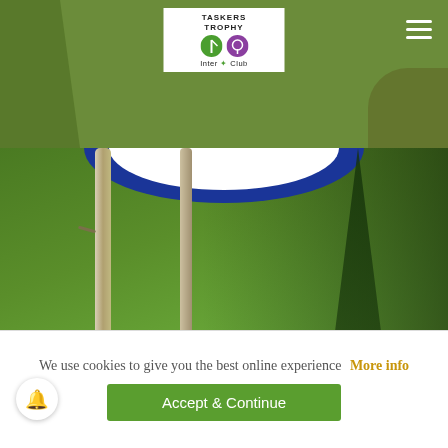Taskers Trophy Inter-Club logo and navigation header
[Figure (photo): Golf course outdoor scene with birch trees, green fairway, golfers in background, overlaid with large white bold text 'TASKERS PLATE' and subtitle text about the competition being introduced in 2006.]
TASKERS PLATE
Introduced in 2006, following co-sponsorship of the competition by Taskers UK, providing a
We use cookies to give you the best online experience  More info
Accept & Continue